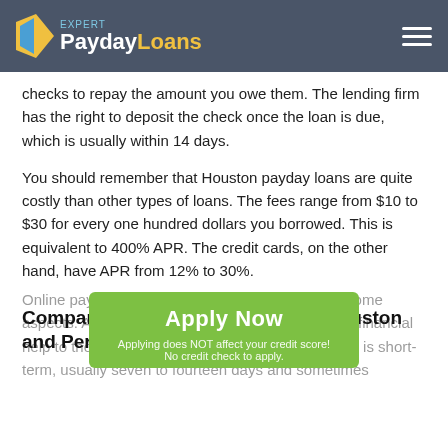Payday Loans Expert
checks to repay the amount you owe them. The lending firm has the right to deposit the check once the loan is due, which is usually within 14 days.
You should remember that Houston payday loans are quite costly than other types of loans. The fees range from $10 to $30 for every one hundred dollars you borrowed. This is equivalent to 400% APR. The credit cards, on the other hand, have APR from 12% to 30%.
Comparing Online Payday Loans Houston and Personal Loans in Delaware, DE
Online payday loans and personal loans differ in some aspects. Although their main purpose is to provide financial help to those in need, a payday loan payment term is short-term, usually seven to fourteen days and sometimes
[Figure (other): Green Apply Now button overlay with text 'Apply Now', 'Applying does NOT affect your credit score!', 'No credit check to apply.']